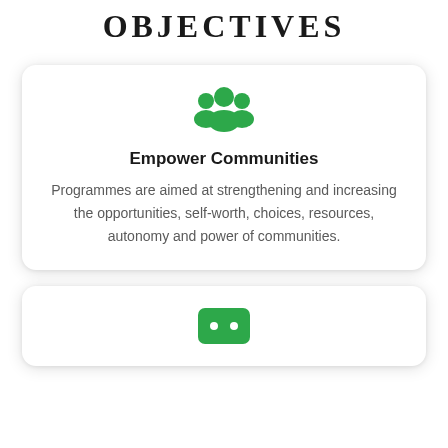OBJECTIVES
[Figure (illustration): Green icon of a group of people / community silhouette]
Empower Communities
Programmes are aimed at strengthening and increasing the opportunities, self-worth, choices, resources, autonomy and power of communities.
[Figure (illustration): Green icon with two dots / ellipsis symbol at bottom of second card]